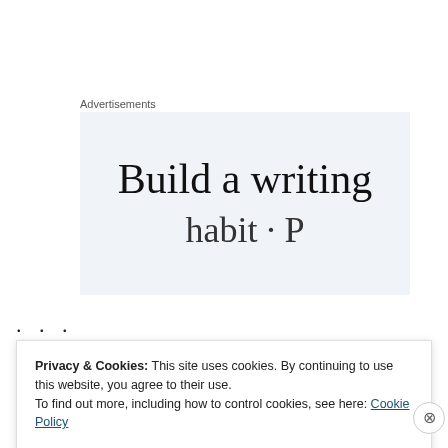Advertisements
[Figure (illustration): Advertisement banner with text 'Build a writing' on a light blue-grey background, partially visible]
. . .
MS. MULLEN:  Good afternoon.
Between the years of 1957 and 1974, I became a pawn in
Privacy & Cookies: This site uses cookies. By continuing to use this website, you agree to their use.
To find out more, including how to control cookies, see here: Cookie Policy
Close and accept